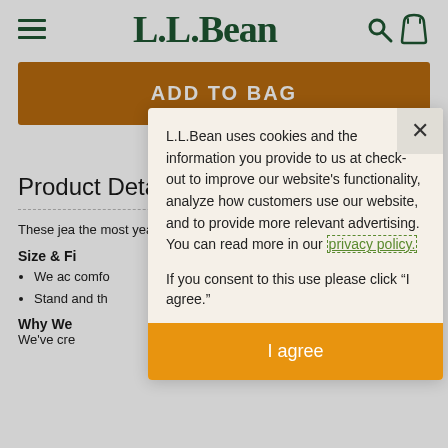L.L.Bean
ADD TO BAG
Product Details
These jea the most year-roun
Size & Fi
We ac comfo
Stand and th
Why We
We've cre
L.L.Bean uses cookies and the information you provide to us at check-out to improve our website's functionality, analyze how customers use our website, and to provide more relevant advertising. You can read more in our privacy policy.

If you consent to this use please click “I agree.”
I agree